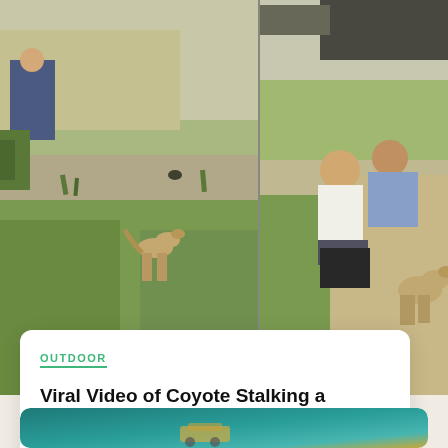[Figure (photo): Split photo collage: left side shows a coyote walking near a path with grass and a person in background; right side shows two people sitting on grass with a coyote nearby]
OUTDOOR
Viral Video of Coyote Stalking a Toddler in SF Shows Need for Animal-Human Coexistence Research
Aug 9, 2022 — Matador News Staff
[Figure (photo): Teal/turquoise background image partially visible at bottom of page, appears to show a school bus in a desert or open landscape scene]